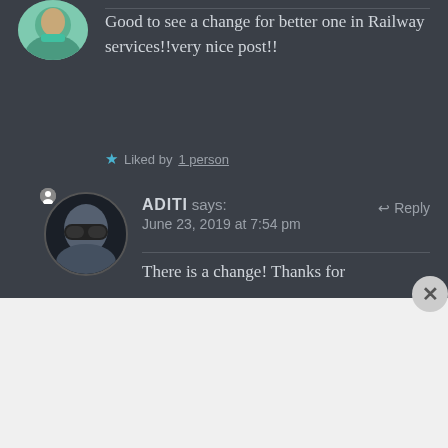[Figure (photo): User avatar photo showing a person in a teal/green top, cropped circular, at top left]
Good to see a change for better one in Railway services!!very nice post!!
★ Liked by 1 person
[Figure (photo): Second user avatar showing a person wearing a VR headset/glasses, circular, with small user icon badge]
ADITI says:     ↩ Reply
June 23, 2019 at 7:54 pm
There is a change! Thanks for
Advertisements
[Figure (screenshot): DuckDuckGo advertisement banner with orange background. Text: Search, browse, and email with more privacy. All in One Free App. Shows DuckDuckGo app on a phone mockup with DuckDuckGo logo and wordmark.]